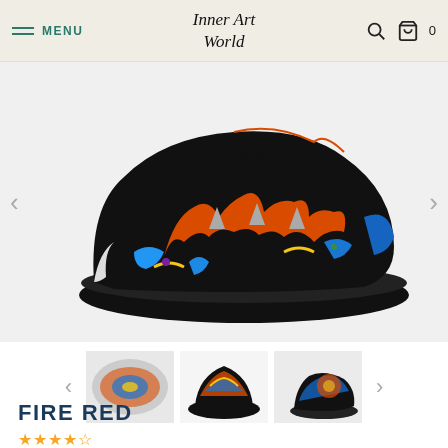MENU | Inner Art World | 0
[Figure (photo): Main product photo: colorful artistic sneaker with fire/mandala pattern in orange, red, blue, yellow on black sole, side view]
[Figure (photo): Thumbnail 1: sneaker top-down view]
[Figure (photo): Thumbnail 2: sneaker front view with black sole]
[Figure (photo): Thumbnail 3: partial side view of sneaker]
FIRE RED
Star rating row